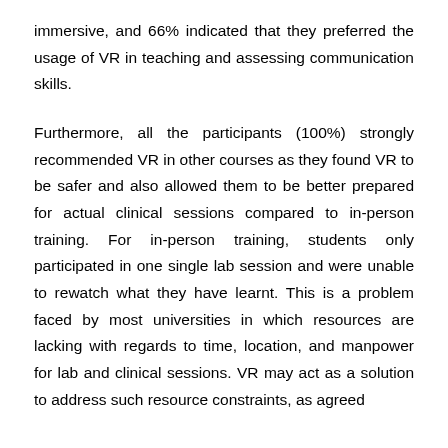immersive, and 66% indicated that they preferred the usage of VR in teaching and assessing communication skills.
Furthermore, all the participants (100%) strongly recommended VR in other courses as they found VR to be safer and also allowed them to be better prepared for actual clinical sessions compared to in-person training. For in-person training, students only participated in one single lab session and were unable to rewatch what they have learnt. This is a problem faced by most universities in which resources are lacking with regards to time, location, and manpower for lab and clinical sessions. VR may act as a solution to address such resource constraints, as agreed